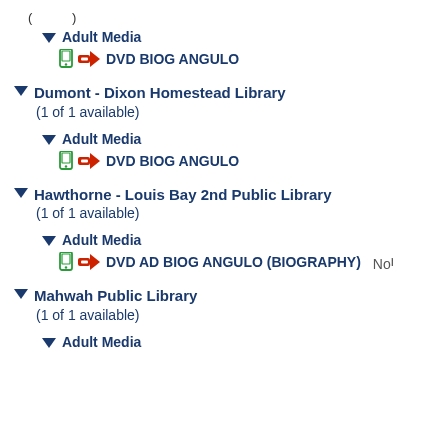(... )
▼ Adult Media
DVD BIOG ANGULO
▼ Dumont - Dixon Homestead Library (1 of 1 available)
▼ Adult Media
DVD BIOG ANGULO
▼ Hawthorne - Louis Bay 2nd Public Library (1 of 1 available)
▼ Adult Media
DVD AD BIOG ANGULO (BIOGRAPHY)  Nor
▼ Mahwah Public Library (1 of 1 available)
▼ Adult Media